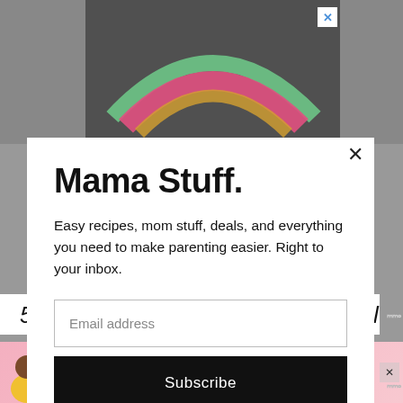[Figure (photo): Chalk drawing on asphalt, partial rainbow arc in pink, green and yellow chalk visible on dark pavement, with a small blue X close button in top right]
Mama Stuff.
Easy recipes, mom stuff, deals, and everything you need to make parenting easier. Right to your inbox.
Email address
Subscribe
5. Expand trips and vacation travel b...
[Figure (photo): Advertisement banner with person in yellow shirt and text 'Actions speak louder than words.' on pink background with X close button]